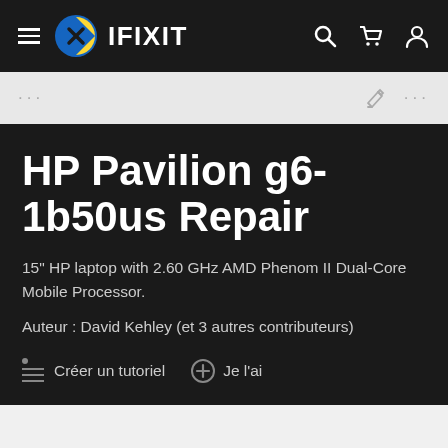IFIXIT
HP Pavilion g6-1b50us Repair
15" HP laptop with 2.60 GHz AMD Phenom II Dual-Core Mobile Processor.
Auteur : David Kehley (et 3 autres contributeurs)
Créer un tutoriel   Je l'ai